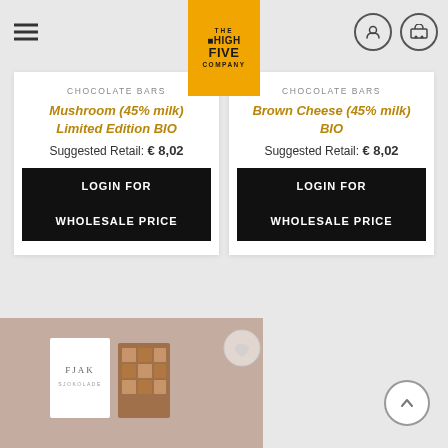[Figure (logo): The High Five Company logo — golden/yellow square badge with text THE HIGH FIVE COMPANY]
CHOCOLATE BARS
Mushroom (45% milk)
Limited Edition BIO
Suggested Retail: € 8,02
LOGIN FOR WHOLESALE PRICE
CHOCOLATE BARS
Brown Cheese (45% milk)
BIO
Suggested Retail: € 8,02
LOGIN FOR WHOLESALE PRICE
[Figure (photo): Photo of Fjak Sjokolade chocolate bar packaging on a pink/blush background]